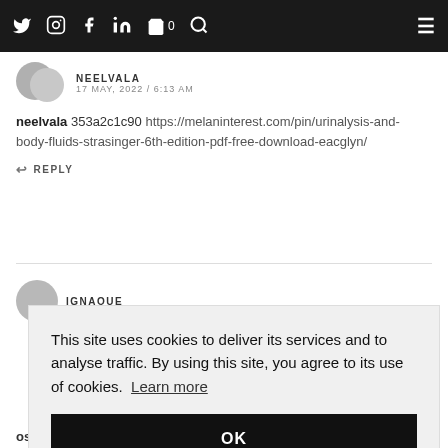Navigation bar with social icons: Twitter, Instagram, Facebook, LinkedIn, Cart (0), Search, and hamburger menu
NEELVALA
17 MAY, 2022 / 6:13 AM
neelvala 353a2c1c90 https://melaninterest.com/pin/urinalysis-and-body-fluids-strasinger-6th-edition-pdf-free-download-eacglyn/
REPLY
IGNAQUE
This site uses cookies to deliver its services and to analyse traffic. By using this site, you agree to its use of cookies. Learn more
OK
osabitz 353a2c1c90 https://www.eselambloggen.ch/profile/Plan-